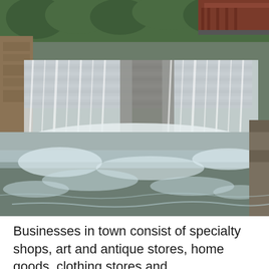[Figure (photo): A waterfall cascading over a wide stone dam into a churning river below. Trees and a red bridge or structure are visible in the upper right background. The scene is outdoors in a natural/urban setting.]
Businesses in town consist of specialty shops, art and antique stores, home goods, clothing stores and